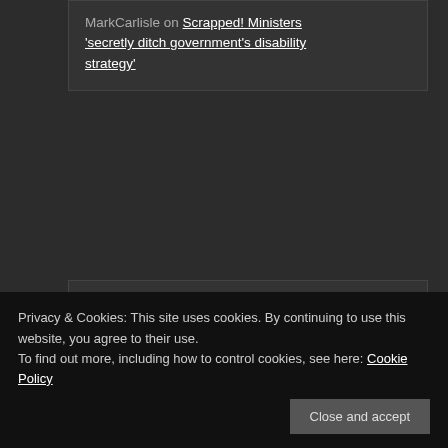MarkCarlisle on Scrapped! Ministers 'secretly ditch government's disability strategy'
No upcoming events
Privacy & Cookies: This site uses cookies. By continuing to use this website, you agree to their use. To find out more, including how to control cookies, see here: Cookie Policy
Close and accept